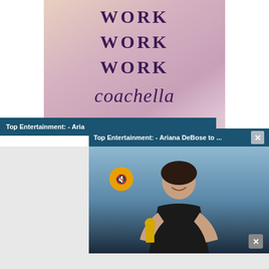[Figure (photo): Photo with handwritten-style text reading WORK WORK WORK coachella on a pink/purple gradient background]
Top Entertainment: - Aria
Top Entertainment: - Ariana DeBose to ...
[Figure (screenshot): Video player screenshot showing Ariana DeBose holding an Oscar trophy, smiling, wearing a black strapless dress. Has a mute button overlay and X close button.]